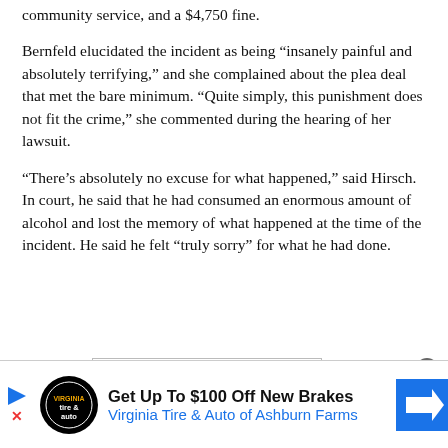community service, and a $4,750 fine.
Bernfeld elucidated the incident as being “insanely painful and absolutely terrifying,” and she complained about the plea deal that met the bare minimum. “Quite simply, this punishment does not fit the crime,” she commented during the hearing of her lawsuit.
“There’s absolutely no excuse for what happened,” said Hirsch. In court, he said that he had consumed an enormous amount of alcohol and lost the memory of what happened at the time of the incident. He said he felt “truly sorry” for what he had done.
[Figure (other): Advertisement banner: Get Up To $100 Off New Brakes - Virginia Tire & Auto of Ashburn Farms, with play button, logo, and arrow icon]